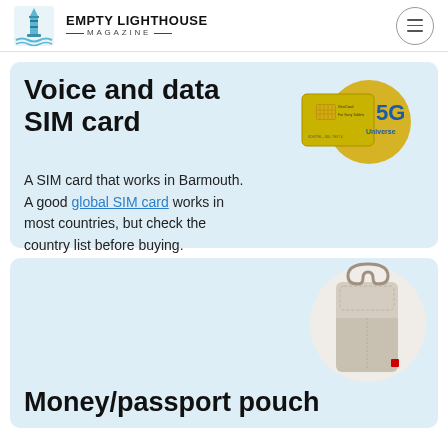Empty Lighthouse Magazine
Voice and data SIM card
[Figure (photo): 5G SIM card product image on gold background]
A SIM card that works in Barmouth. A good global SIM card works in most countries, but check the country list before buying.
[Figure (photo): Money/passport pouch product image]
Money/passport pouch